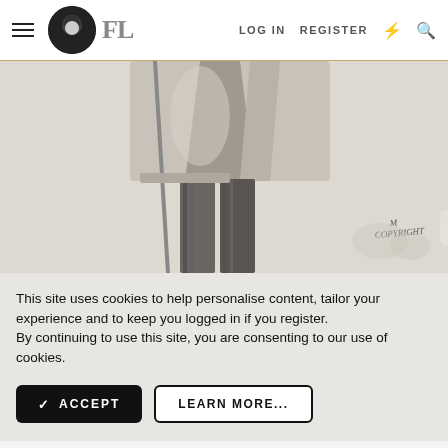FL | LOG IN | REGISTER
[Figure (illustration): Black and white pencil sketch illustration showing the lower portion of a figure in formal coat and striped trousers, with a 'COPYRIGHT' signature mark in the lower right corner.]
This site uses cookies to help personalise content, tailor your experience and to keep you logged in if you register.
By continuing to use this site, you are consenting to our use of cookies.
✓ ACCEPT | LEARN MORE...
[Figure (infographic): Walgreens advertisement banner: 'Save on Select Vitamins', 'Walgreens Photo' with blue arrow diamond icon]